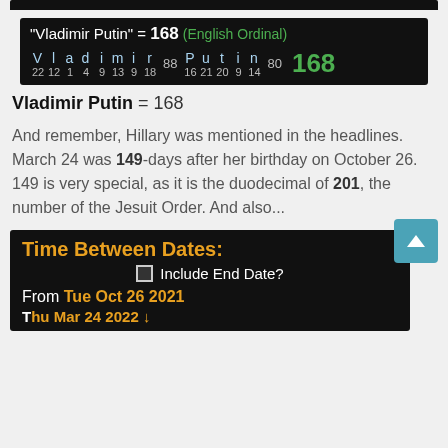[Figure (infographic): Dark gematria calculation box showing 'Vladimir Putin' = 168 in English Ordinal cipher. Letters V-l-a-d-i-m-i-r sum to 88, P-u-t-i-n sum to 80, total 168 in green.]
Vladimir Putin = 168
And remember, Hillary was mentioned in the headlines. March 24 was 149-days after her birthday on October 26. 149 is very special, as it is the duodecimal of 201, the number of the Jesuit Order. And also...
[Figure (screenshot): Time Between Dates calculator widget. Dark background with orange title 'Time Between Dates:'. Shows checkbox 'Include End Date?', From Tue Oct 26 2021, partially visible To row.]